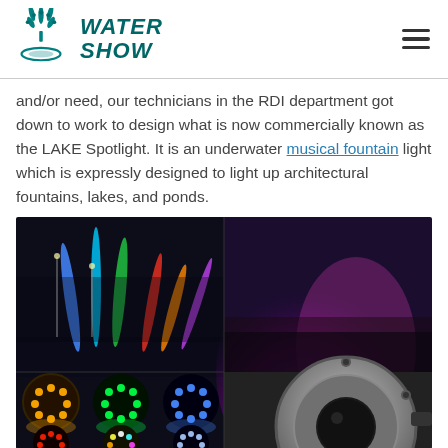WATER SHOW
and/or need, our technicians in the RDI department got down to work to design what is now commercially known as the LAKE Spotlight. It is an underwater musical fountain light which is expressly designed to light up architectural fountains, lakes, and ponds.
[Figure (photo): Collage of colorful illuminated water fountains at night showing multiple colored jets (blue, green, red, orange, pink/purple), and a stainless steel underwater LED spotlight fixture on the right side.]